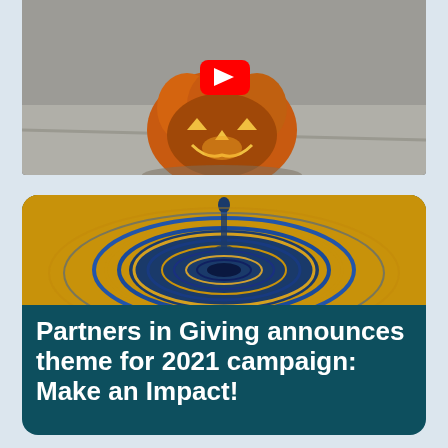[Figure (photo): Photo of a carved Halloween pumpkin (jack-o-lantern) with a YouTube logo on top, sitting on concrete steps.]
[Figure (photo): Close-up photo of a water droplet creating a ripple in liquid, with blue and golden yellow colors reflected.]
Partners in Giving announces theme for 2021 campaign: Make an Impact!